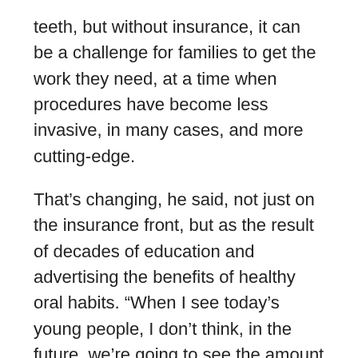teeth, but without insurance, it can be a challenge for families to get the work they need, at a time when procedures have become less invasive, in many cases, and more cutting-edge.
That's changing, he said, not just on the insurance front, but as the result of decades of education and advertising the benefits of healthy oral habits. “When I see today’s young people, I don’t think, in the future, we’re going to see the amount of restorative need we see today.”
Until then, Hirsh aims to continue fixing what he can and helping young people forge a path to a future without implants. He’s scaled back to three days a week as he approaches retirement, but says the